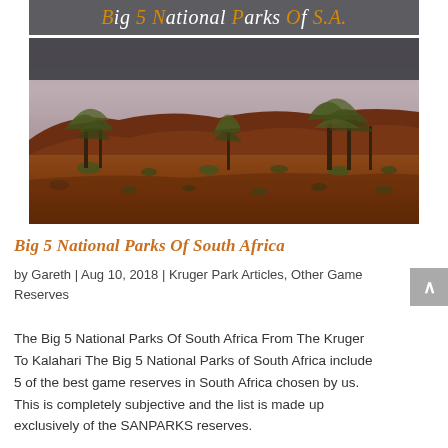[Figure (photo): Desert landscape with red sandy terrain, dry scrub bushes and trees against a pastel purple-pink sky at dusk. A dark banner across the top reads 'Big 5 National Parks Of S.A.' in styled orange and white italic text.]
Big 5 National Parks Of South Africa
by Gareth | Aug 10, 2018 | Kruger Park Articles, Other Game Reserves
The Big 5 National Parks Of South Africa From The Kruger To Kalahari The Big 5 National Parks of South Africa include 5 of the best game reserves in South Africa chosen by us. This is completely subjective and the list is made up exclusively of the SANPARKS reserves.